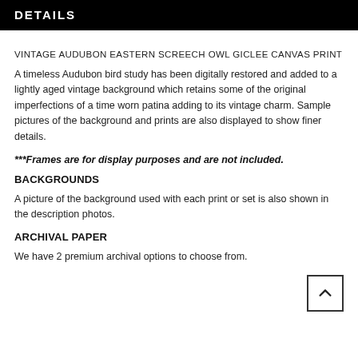DETAILS
VINTAGE AUDUBON EASTERN SCREECH OWL GICLEE CANVAS PRINT
A timeless Audubon bird study has been digitally restored and added to a lightly aged vintage background which retains some of the original imperfections of a time worn patina adding to its vintage charm. Sample pictures of the background and prints are also displayed to show finer details.
***Frames are for display purposes and are not included.
BACKGROUNDS
A picture of the background used with each print or set is also shown in the description photos.
ARCHIVAL PAPER
We have 2 premium archival options to choose from.